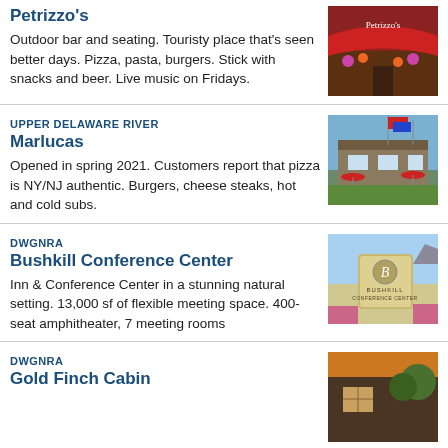Petrizzo's
Outdoor bar and seating. Touristy place that's seen better days. Pizza, pasta, burgers. Stick with snacks and beer. Live music on Fridays.
[Figure (photo): Exterior of Petrizzo's restaurant with red awning and flowers]
UPPER DELAWARE RIVER
Marlucas
Opened in spring 2021. Customers report that pizza is NY/NJ authentic. Burgers, cheese steaks, hot and cold subs.
[Figure (photo): Exterior of Marlucas restaurant with flags and red umbrellas]
DWGNRA
Bushkill Conference Center
Inn & Conference Center in a stunning natural setting. 13,000 sf of flexible meeting space. 400-seat amphitheater, 7 meeting rooms
[Figure (photo): Bushkill Conference Center sign with B logo and buildings]
DWGNRA
Gold Finch Cabin